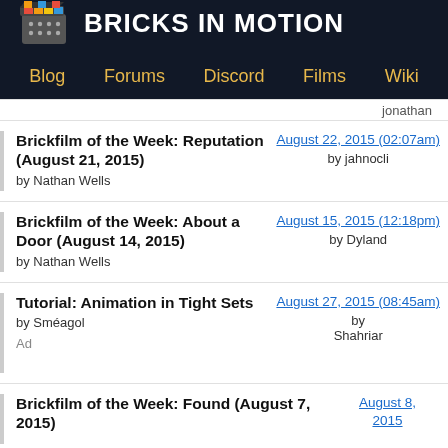BRICKS IN MOTION
Blog | Forums | Discord | Films | Wiki
jonathan
Brickfilm of the Week: Reputation (August 21, 2015) by Nathan Wells — August 22, 2015 (02:07am) by jahnocli
Brickfilm of the Week: About a Door (August 14, 2015) by Nathan Wells — August 15, 2015 (12:18pm) by Dyland
Tutorial: Animation in Tight Sets by Sméagol — August 27, 2015 (08:45am) by Shahriar
Ad
Brickfilm of the Week: Found (August 7, 2015) — August 8, 2015